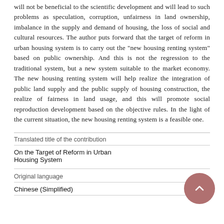will not be beneficial to the scientific development and will lead to such problems as speculation, corruption, unfairness in land ownership, imbalance in the supply and demand of housing, the loss of social and cultural resources. The author puts forward that the target of reform in urban housing system is to carry out the "new housing renting system" based on public ownership. And this is not the regression to the traditional system, but a new system suitable to the market economy. The new housing renting system will help realize the integration of public land supply and the public supply of housing construction, the realize of fairness in land usage, and this will promote social reproduction development based on the objective rules. In the light of the current situation, the new housing renting system is a feasible one.
| Field | Value |
| --- | --- |
| Translated title of the contribution |  |
|  | On the Target of Reform in Urban Housing System |
| Original language |  |
|  | Chinese (Simplified) |